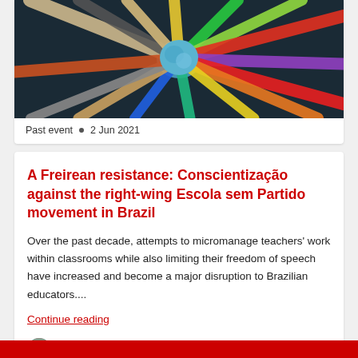[Figure (photo): Colorful braided ropes tied in a knot at the center, radiating outward on a dark background — representing diversity and unity]
Past event • 2 Jun 2021
A Freirean resistance: Conscientização against the right-wing Escola sem Partido movement in Brazil
Over the past decade, attempts to micromanage teachers' work within classrooms while also limiting their freedom of speech have increased and become a major disruption to Brazilian educators....
Continue reading
[Figure (photo): Partial view of an author avatar circle at the bottom]